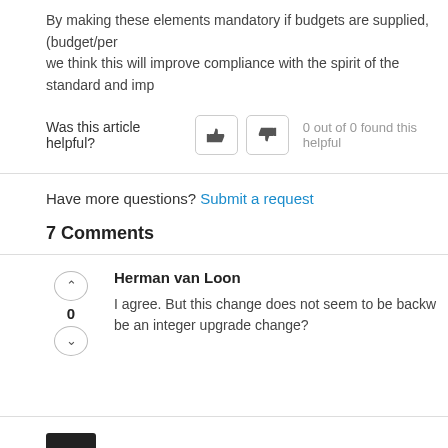By making these elements mandatory if budgets are supplied, (budget/per... we think this will improve compliance with the spirit of the standard and imp...
Was this article helpful? 0 out of 0 found this helpful
Have more questions? Submit a request
7 Comments
Herman van Loon
I agree. But this change does not seem to be backw... be an integer upgrade change?